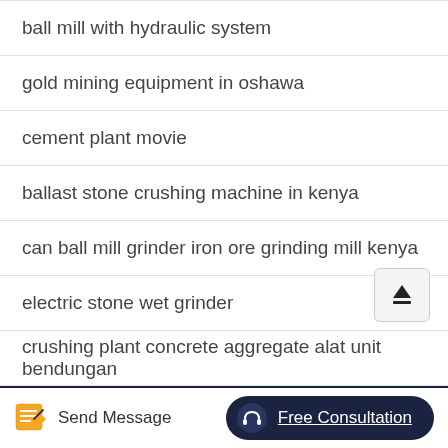ball mill with hydraulic system
gold mining equipment in oshawa
cement plant movie
ballast stone crushing machine in kenya
can ball mill grinder iron ore grinding mill kenya
electric stone wet grinder
crushing plant concrete aggregate alat unit bendungan
Send Message   Free Consultation